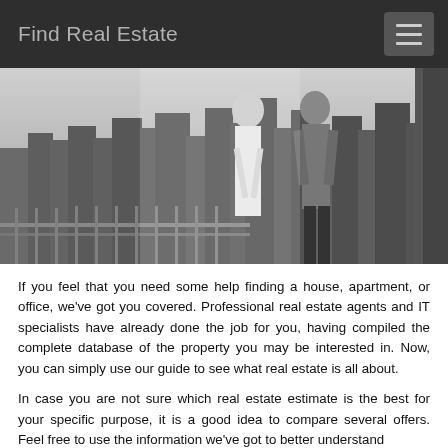Find Real Estate
[Figure (photo): Black and white photo of a well-dressed couple standing on a high-rise balcony overlooking a city skyline]
If you feel that you need some help finding a house, apartment, or office, we've got you covered. Professional real estate agents and IT specialists have already done the job for you, having compiled the complete database of the property you may be interested in. Now, you can simply use our guide to see what real estate is all about.
In case you are not sure which real estate estimate is the best for your specific purpose, it is a good idea to compare several offers. Feel free to use the information we've got to better understand